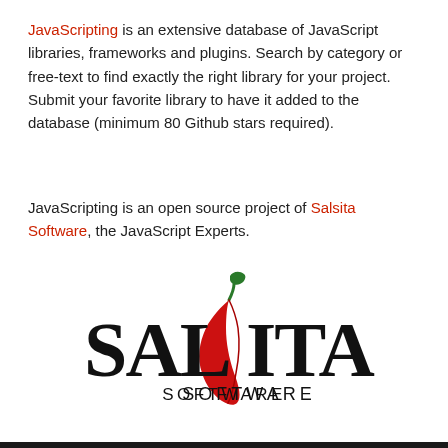JavaScripting is an extensive database of JavaScript libraries, frameworks and plugins. Search by category or free-text to find exactly the right library for your project. Submit your favorite library to have it added to the database (minimum 80 Github stars required).
JavaScripting is an open source project of Salsita Software, the JavaScript Experts.
[Figure (logo): Salsita Software logo with stylized red chili pepper and large black SALSITA text with SOFTWARE below]